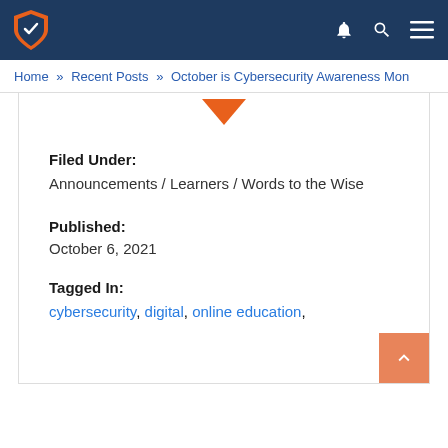Navigation bar with shield logo and icons
Home » Recent Posts » October is Cybersecurity Awareness Mon...
Filed Under:
Announcements / Learners / Words to the Wise
Published:
October 6, 2021
Tagged In:
cybersecurity, digital, online education,